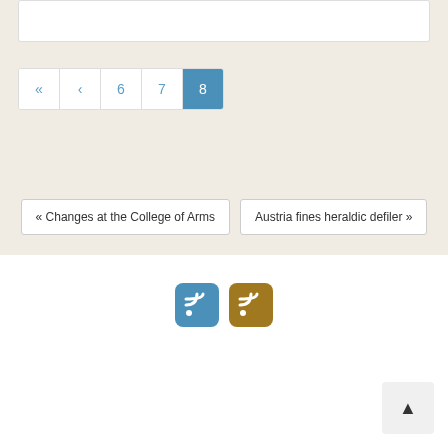[Figure (screenshot): Pagination navigation showing page buttons: «, <, 6, 7, 8 (active/highlighted in blue)]
« Changes at the College of Arms
Austria fines heraldic defiler »
[Figure (other): Two RSS feed icons: one blue and one gold/brown]
▲ (back to top button)